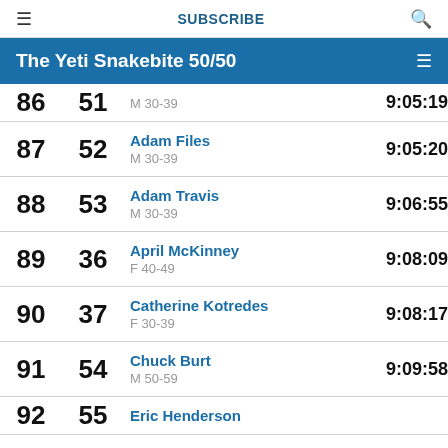≡  SUBSCRIBE  🔍
The Yeti Snakebite 50/50
| Overall | Div | Name / Category | Time |
| --- | --- | --- | --- |
| 86 | 51 | M 30-39 | 9:05:19 |
| 87 | 52 | Adam Files
M 30-39 | 9:05:20 |
| 88 | 53 | Adam Travis
M 30-39 | 9:06:55 |
| 89 | 36 | April McKinney
F 40-49 | 9:08:09 |
| 90 | 37 | Catherine Kotredes
F 30-39 | 9:08:17 |
| 91 | 54 | Chuck Burt
M 50-59 | 9:09:58 |
| 92 | 55 | Eric Henderson |  |